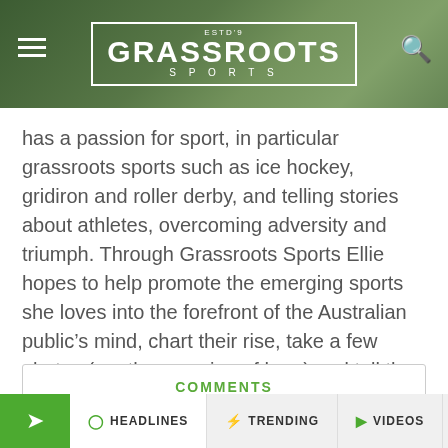GRASSROOTS SPORTS
has a passion for sport, in particular grassroots sports such as ice hockey, gridiron and roller derby, and telling stories about athletes, overcoming adversity and triumph. Through Grassroots Sports Ellie hopes to help promote the emerging sports she loves into the forefront of the Australian public's mind, chart their rise, take a few photos (another passion of hers) and tell the stories of the people who made it happen.
COMMENTS
ADVERTISEMENT
HEADLINES   TRENDING   VIDEOS